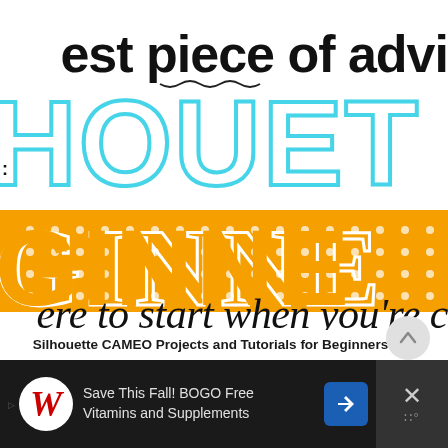[Figure (illustration): Cropped decorative typography image showing partial text: 'est piece of advi' in black, 'HOUET' in cyan/turquoise outline letters, 'GINNE' in orange block letters with white dot pattern, and 're to start when you're c' in black. Appears to be a Silhouette CAMEO blog post header image.]
Silhouette CAMEO Projects and Tutorials for Beginners: My Best Advice for Newbies (Updated Dec 2021)
[Figure (infographic): Advertisement bar at bottom: dark background with Walgreens logo (cursive W in red on white circle), text 'Save This Fall! BOGO Free Vitamins and Supplements', blue diamond navigation arrow icon, and close button with X.]